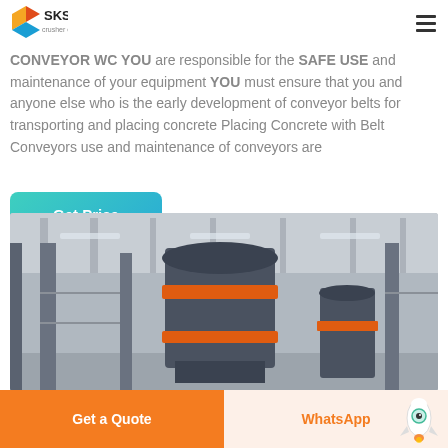Conveyors
SKS crusher expert
CONVEYOR WC YOU are responsible for the SAFE USE and maintenance of your equipment YOU must ensure that you and anyone else who is the early development of conveyor belts for transporting and placing concrete Placing Concrete with Belt Conveyors use and maintenance of conveyors are
[Figure (screenshot): Get Price teal gradient button]
[Figure (photo): Industrial machinery in a large warehouse/factory — a large vertical cylindrical machine (likely a crusher or mill) on an orange base, with structural steel columns and roof in the background.]
[Figure (other): Bottom action bar with 'Get a Quote' orange button, 'WhatsApp' button, and rocket mascot icon]